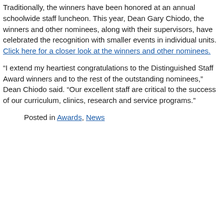Traditionally, the winners have been honored at an annual schoolwide staff luncheon. This year, Dean Gary Chiodo, the winners and other nominees, along with their supervisors, have celebrated the recognition with smaller events in individual units. Click here for a closer look at the winners and other nominees.
“I extend my heartiest congratulations to the Distinguished Staff Award winners and to the rest of the outstanding nominees,” Dean Chiodo said. “Our excellent staff are critical to the success of our curriculum, clinics, research and service programs.”
Posted in Awards, News